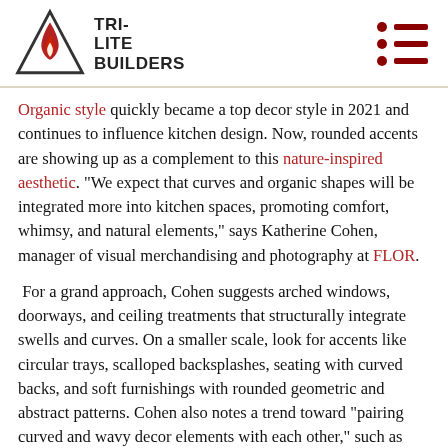TRI-LITE BUILDERS
Organic style quickly became a top decor style in 2021 and continues to influence kitchen design. Now, rounded accents are showing up as a complement to this nature-inspired aesthetic. "We expect that curves and organic shapes will be integrated more into kitchen spaces, promoting comfort, whimsy, and natural elements," says Katherine Cohen, manager of visual merchandising and photography at FLOR.
For a grand approach, Cohen suggests arched windows, doorways, and ceiling treatments that structurally integrate swells and curves. On a smaller scale, look for accents like circular trays, scalloped backsplashes, seating with curved backs, and soft furnishings with rounded geometric and abstract patterns. Cohen also notes a trend toward "pairing curved and wavy decor elements with each other," such as round tables with